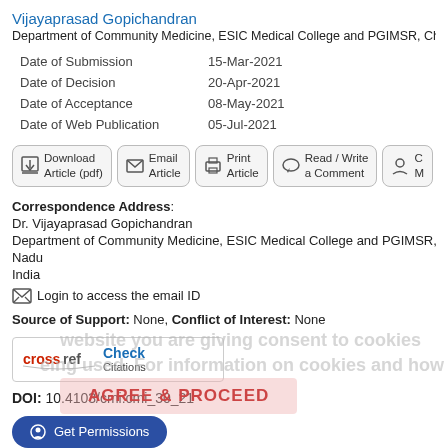Vijayaprasad Gopichandran
Department of Community Medicine, ESIC Medical College and PGIMSR, Chennai, Tam
|  |  |
| --- | --- |
| Date of Submission | 15-Mar-2021 |
| Date of Decision | 20-Apr-2021 |
| Date of Acceptance | 08-May-2021 |
| Date of Web Publication | 05-Jul-2021 |
[Figure (other): Action buttons row: Download Article (pdf), Email Article, Print Article, Read/Write a Comment, C M (partially visible)]
Correspondence Address:
Dr. Vijayaprasad Gopichandran
Department of Community Medicine, ESIC Medical College and PGIMSR, KK Nagar, Ch
Nadu
India
Login to access the email ID
Source of Support: None, Conflict of Interest: None
[Figure (logo): CrossRef Check Citations logo with Check link]
DOI: 10.4103/cmi.cmi_30_21
[Figure (other): Get Permissions button (blue rounded)]